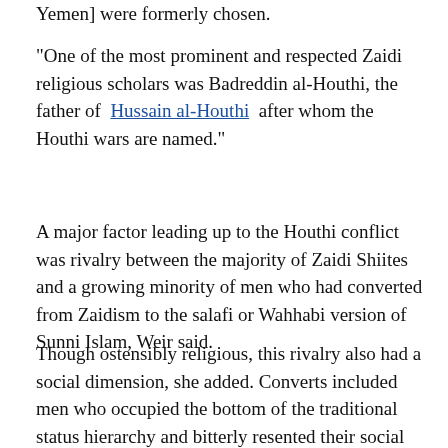Yemen] were formerly chosen.
"One of the most prominent and respected Zaidi religious scholars was Badreddin al-Houthi, the father of Hussain al-Houthi after whom the Houthi wars are named."
A major factor leading up to the Houthi conflict was rivalry between the majority of Zaidi Shiites and a growing minority of men who had converted from Zaidism to the salafi or Wahhabi version of Sunni Islam, Weir said.
Though ostensibly religious, this rivalry also had a social dimension, she added. Converts included men who occupied the bottom of the traditional status hierarchy and bitterly resented their social disadvantage, as well as youths who resented the power of the older generation or were attracted by the charisma of salafi leaders and their obvious financial resources. "Certain sheikhs openly or tacitly